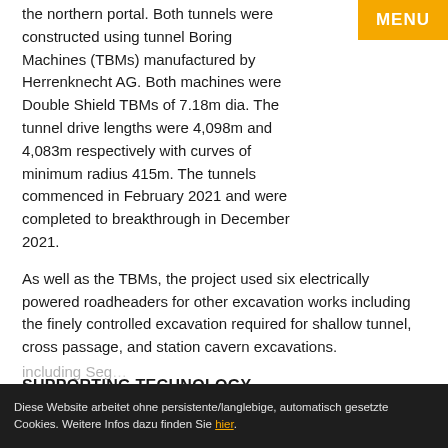the northern portal. Both tunnels were constructed using tunnel Boring Machines (TBMs) manufactured by Herrenknecht AG. Both machines were Double Shield TBMs of 7.18m dia. The tunnel drive lengths were 4,098m and 4,083m respectively with curves of minimum radius 415m. The tunnels commenced in February 2021 and were completed to breakthrough in December 2021.
As well as the TBMs, the project used six electrically powered roadheaders for other excavation works including the finely controlled excavation required for shallow tunnel, cross passage, and station cavern excavations.
SUPPORTING TECHNOLOGY
Whilst the TBMs and roadheaders were doing the heavy work of excavating the ground, they required logistical back-up in the form of navigational tools, segment lining control, lining ring including Seg...
Diese Website arbeitet ohne persistente/langlebige, automatisch gesetzte Cookies. Weitere Infos dazu finden Sie hier.